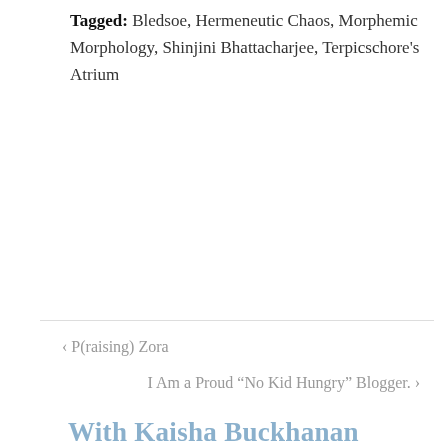Tagged: Bledsoe, Hermeneutic Chaos, Morphemic Morphology, Shinjini Bhattacharjee, Terpicschore's Atrium
< P(raising) Zora
I Am a Proud “No Kid Hungry” Blogger. >
Privacy & Cookies: This site uses cookies. By continuing to use this website, you agree to their use. To find out more, including how to control cookies, see here: Cookie Policy
Close and accept
With Kaisha Buckhanan